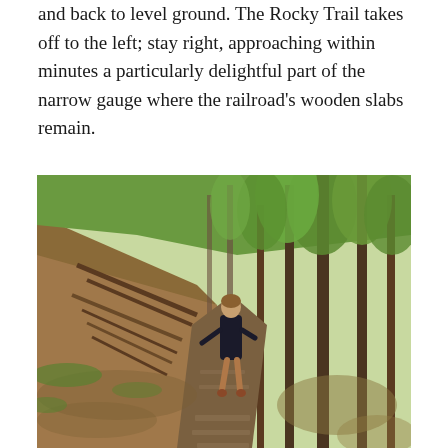and back to level ground. The Rocky Trail takes off to the left; stay right, approaching within minutes a particularly delightful part of the narrow gauge where the railroad's wooden slabs remain.
[Figure (photo): A person in a dark jacket walking along a forested trail with wooden railroad slabs visible on the ground. The trail is flanked by a steep hillside on the left covered with fallen logs, and tall green trees on the right. The scene is lush with spring foliage.]